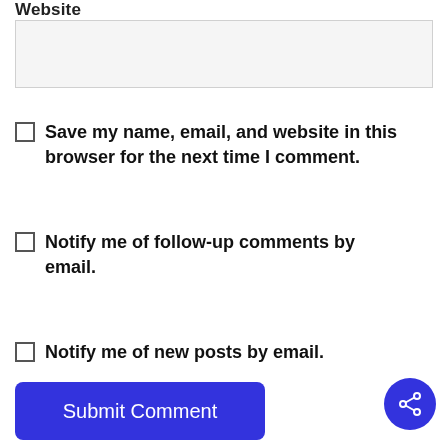Website
Save my name, email, and website in this browser for the next time I comment.
Notify me of follow-up comments by email.
Notify me of new posts by email.
Submit Comment